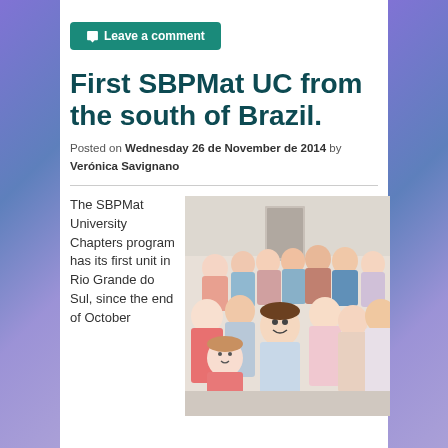Leave a comment
First SBPMat UC from the south of Brazil.
Posted on Wednesday 26 de November de 2014 by Verónica Savignano
[Figure (photo): Group photo of approximately 20 young people (students) standing together in a corridor or indoor hallway, smiling at the camera.]
The SBPMat University Chapters program has its first unit in Rio Grande do Sul, since the end of October...